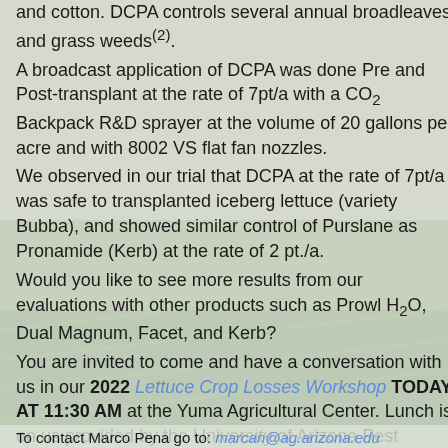and cotton. DCPA controls several annual broadleaves and grass weeds(2). A broadcast application of DCPA was done Pre and Post-transplant at the rate of 7pt/a with a CO₂ Backpack R&D sprayer at the volume of 20 gallons per acre and with 8002 VS flat fan nozzles. We observed in our trial that DCPA at the rate of 7pt/a was safe to transplanted iceberg lettuce (variety Bubba), and showed similar control of Purslane as Pronamide (Kerb) at the rate of 2 pt./a. Would you like to see more results from our evaluations with other products such as Prowl H₂O, Dual Magnum, Facet, and Kerb? You are invited to come and have a conversation with us in our 2022 Lettuce Crop Losses Workshop TODAY AT 11:30 AM at the Yuma Agricultural Center. Lunch is on us provided by the University of Arizona Pest Management Center.
To contact Marco Pena go to: marcan@ag.arizona.edu